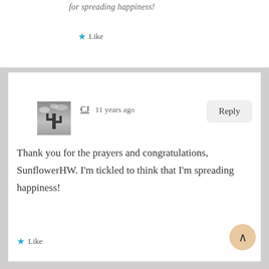for spreading happiness!
Like
[Figure (photo): Black and white photo of a cactus silhouette against a cloudy sky, used as user avatar for CJ]
CJ  11 years ago
Reply
Thank you for the prayers and congratulations, SunflowerHW. I'm tickled to think that I'm spreading happiness!
Like